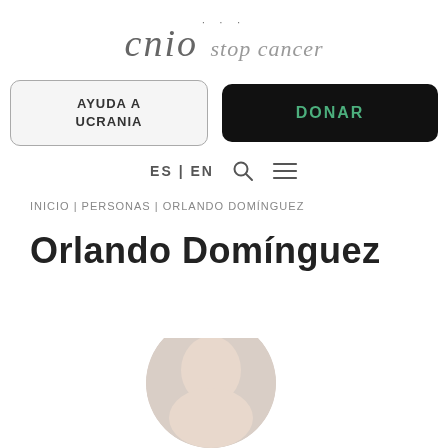[Figure (logo): CNIO stop cancer logo with three dots above cnio in italic serif font]
[Figure (screenshot): Navigation buttons: 'AYUDA A UCRANIA' in rounded light button and 'DONAR' in black rounded button with green text]
[Figure (screenshot): Language selector ES | EN with search icon and hamburger menu icon]
INICIO | PERSONAS | ORLANDO DOMÍNGUEZ
Orlando Domínguez
[Figure (photo): Partial circular portrait photo of Orlando Domínguez, showing top of head, cropped at bottom of page]